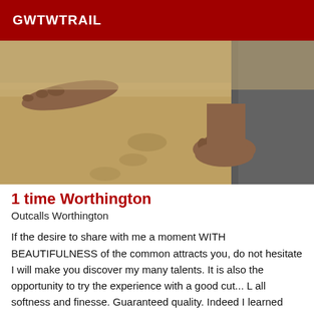GWTWTRAIL
[Figure (photo): Close-up photo of a person's bare feet standing on sandy ground, with footprints visible in the sand. A pair of legs in dark pants is visible on the right side.]
1 time Worthington
Outcalls Worthington
If the desire to share with me a moment WITH BEAUTIFULNESS of the common attracts you, do not hesitate I will make you discover my many talents. It is also the opportunity to try the experience with a good cut... L all softness and finesse. Guaranteed quality. Indeed I learned how to use delicately a rather imposing